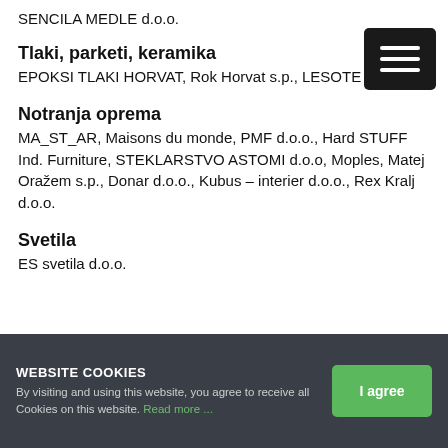SENCILA MEDLE d.o.o.
Tlaki, parketi, keramika
EPOKSI TLAKI HORVAT, Rok Horvat s.p., LESOTE d.o.o.
Notranja oprema
MA_ST_AR, Maisons du monde, PMF d.o.o., Hard STUFF Ind. Furniture, STEKLARSTVO ASTOMI d.o.o, Moples, Matej Oražem s.p., Donar d.o.o., Kubus – interier d.o.o., Rex Kralj d.o.o.
Svetila
ES svetila d.o.o.
WEBSITE COOKIES
By visiting and using this website, you agree to receive all Cookies on this website. Read more ...